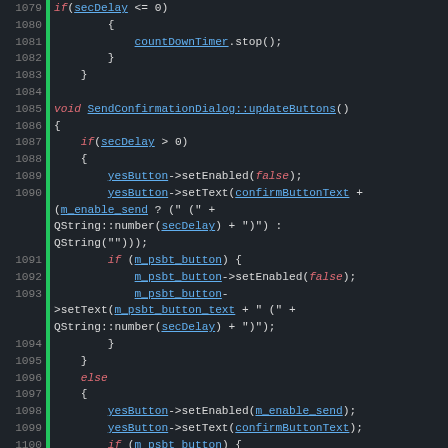[Figure (screenshot): Source code screenshot showing C++ method SendConfirmationDialog::updateButtons with line numbers 1079-1105, dark theme code editor with green gutter bar]